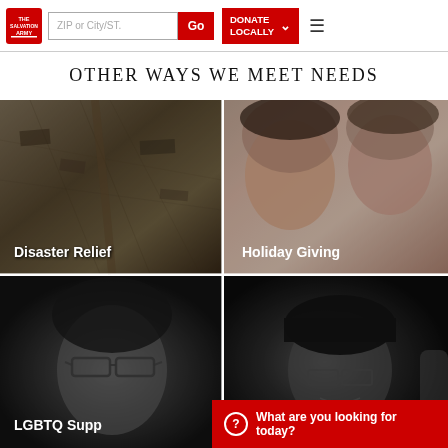[Figure (screenshot): Salvation Army website header with logo, ZIP/City search bar with Go button, Donate Locally button with chevron, and hamburger menu icon]
Other Ways We Meet Needs
[Figure (photo): Grid of four photos: top-left shows aerial view of disaster/flood destruction (grayscale), top-right shows two smiling young girls for Holiday Giving, bottom-left shows a man with glasses for LGBTQ Support, bottom-right shows an older man with a beanie hat]
Disaster Relief
Holiday Giving
LGBTQ Supp...
What are you looking for today?